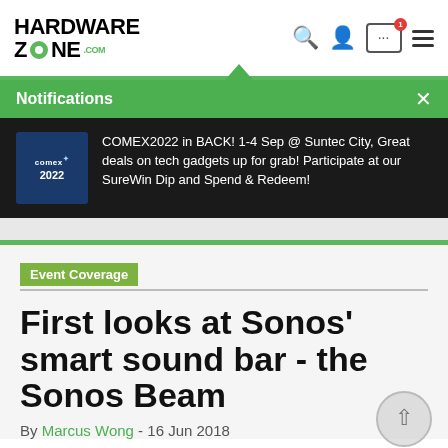HardwareZone.com
Notifications — COMEX2022 in BACK! 1-4 Sep @ Suntec City, Great deals on tech gadgets up for grab! Participate at our SureWin Dip and Spend & Redeem!
Event Coverage
First looks at Sonos' smart sound bar - the Sonos Beam
By Marcus Wong - 16 Jun 2018